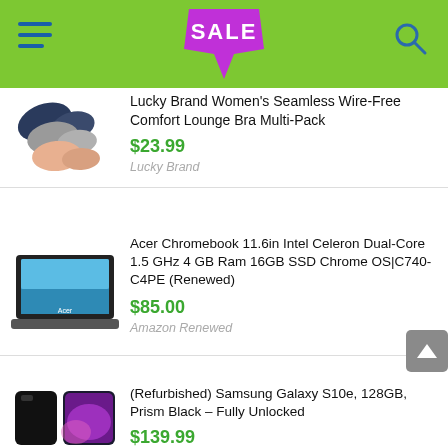SALE header bar with hamburger menu and search icon
Lucky Brand Women's Seamless Wire-Free Comfort Lounge Bra Multi-Pack — $23.99 — Lucky Brand
Acer Chromebook 11.6in Intel Celeron Dual-Core 1.5 GHz 4 GB Ram 16GB SSD Chrome OS|C740-C4PE (Renewed) — $85.00 — Amazon Renewed
(Refurbished) Samsung Galaxy S10e, 128GB, Prism Black – Fully Unlocked — $139.99 — Amazon Renewed